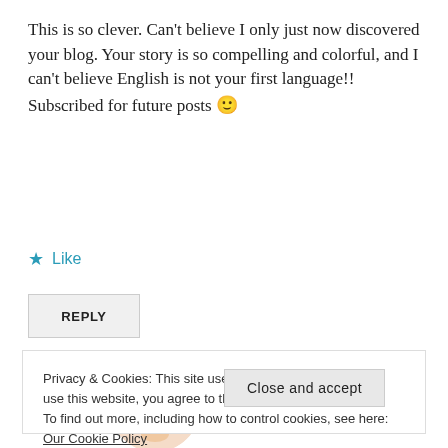This is so clever. Can't believe I only just now discovered your blog. Your story is so compelling and colorful, and I can't believe English is not your first language!! Subscribed for future posts 🙂
★ Like
REPLY
[Figure (photo): Circular avatar photo of a woman with red/auburn hair and glasses, on a light peach background]
LUCILEDEGODOY
Privacy & Cookies: This site uses cookies. By continuing to use this website, you agree to their use.
To find out more, including how to control cookies, see here: Our Cookie Policy
Close and accept